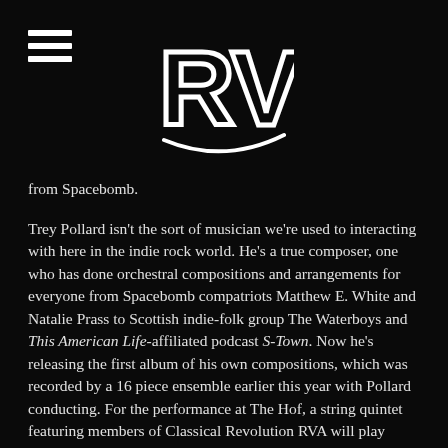RVA logo and menu icon
from Spacebomb.
Trey Pollard isn't the sort of musician we're used to interacting with here in the indie rock world. He's a true composer, one who has done orchestral compositions and arrangements for everyone from Spacebomb compatriots Matthew E. White and Natalie Prass to Scottish indie-folk group The Waterboys and This American Life-affiliated podcast S-Town. Now he's releasing the first album of his own compositions, which was recorded by a 16 piece ensemble earlier this year with Pollard conducting. For the performance at The Hof, a string quintet featuring members of Classical Revolution RVA will play compositions from Antiphone live for the first time. They'll also accompany Matthew E. White for portions of a solo piano-and-vocal set that he'll treat us all to, before we dive fully